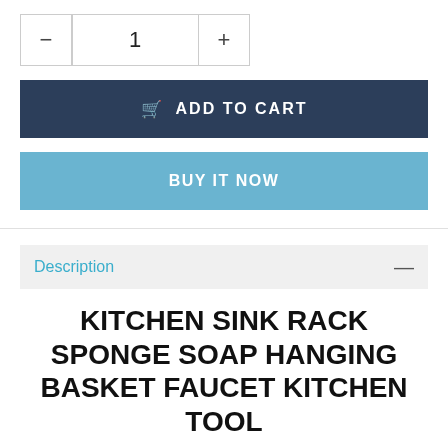— 1 +
🛒 ADD TO CART
BUY IT NOW
Description —
KITCHEN SINK RACK SPONGE SOAP HANGING BASKET FAUCET KITCHEN TOOL